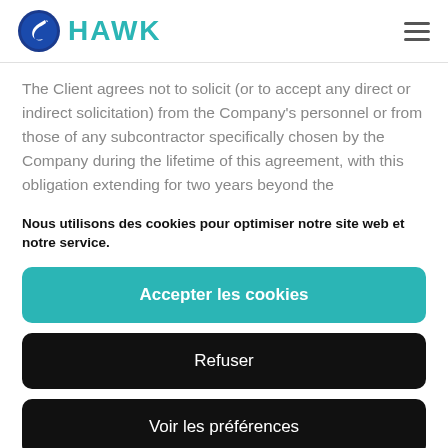[Figure (logo): HAWK logo with blue hawk icon and teal HAWK text]
The Client agrees not to solicit (or to accept any direct or indirect solicitation) from the Company's personnel or from those of any subcontractor specifically chosen by the Company during the lifetime of this agreement, with this obligation extending for two years beyond the
Nous utilisons des cookies pour optimiser notre site web et notre service.
Accepter les cookies
Refuser
Voir les préférences
Cookie Policy   Privacy Policy